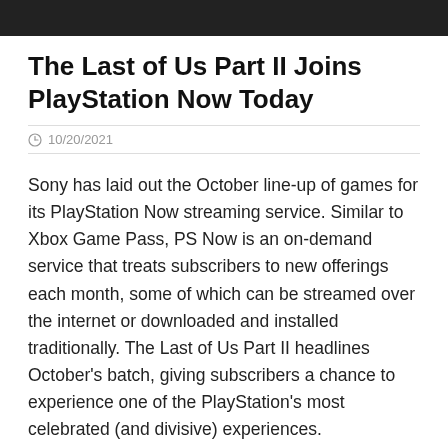[Figure (photo): Dark image bar at the top of the page, partially cropped]
The Last of Us Part II Joins PlayStation Now Today
10/20/2021
Sony has laid out the October line-up of games for its PlayStation Now streaming service. Similar to Xbox Game Pass, PS Now is an on-demand service that treats subscribers to new offerings each month, some of which can be streamed over the internet or downloaded and installed traditionally. The Last of Us Part II headlines October's batch, giving subscribers a chance to experience one of the PlayStation's most celebrated (and divisive) experiences.